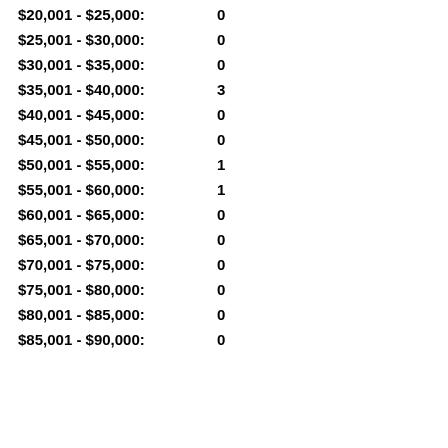$20,001 - $25,000:  0
$25,001 - $30,000:  0
$30,001 - $35,000:  0
$35,001 - $40,000:  3
$40,001 - $45,000:  0
$45,001 - $50,000:  0
$50,001 - $55,000:  1
$55,001 - $60,000:  1
$60,001 - $65,000:  0
$65,001 - $70,000:  0
$70,001 - $75,000:  0
$75,001 - $80,000:  0
$80,001 - $85,000:  0
$85,001 - $90,000:  0